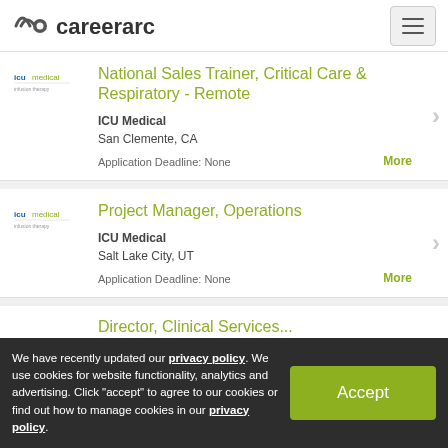careerarc
National Sales Trainer, Critical Care & Respiratory - Remote
ICU Medical
San Clemente, CA
Application Deadline: None
Project Manager, Operations
ICU Medical
Salt Lake City, UT
Application Deadline: None
We have recently updated our privacy policy. We use cookies for website functionality, analytics and advertising. Click "accept" to agree to our cookies or find out how to manage cookies in our privacy policy.